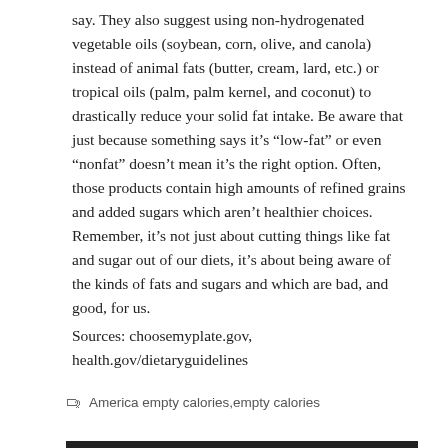say. They also suggest using non-hydrogenated vegetable oils (soybean, corn, olive, and canola) instead of animal fats (butter, cream, lard, etc.) or tropical oils (palm, palm kernel, and coconut) to drastically reduce your solid fat intake. Be aware that just because something says it’s “low-fat” or even “nonfat” doesn’t mean it’s the right option. Often, those products contain high amounts of refined grains and added sugars which aren’t healthier choices. Remember, it’s not just about cutting things like fat and sugar out of our diets, it’s about being aware of the kinds of fats and sugars and which are bad, and good, for us.
Sources: choosemyplate.gov, health.gov/dietaryguidelines
America empty calories,empty calories